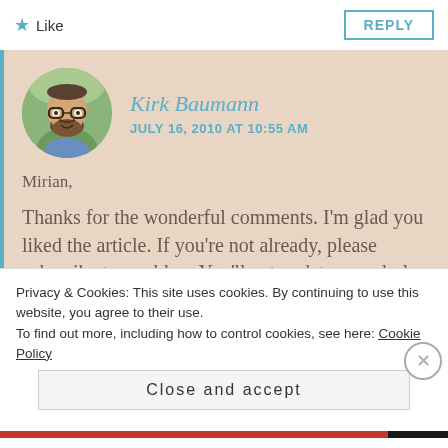Like
REPLY
[Figure (photo): Circular avatar photo of Kirk Baumann, a bearded man with glasses wearing a blue shirt, outdoors with greenery in background]
Kirk Baumann
JULY 16, 2010 AT 10:55 AM
Mirian,
Thanks for the wonderful comments. I'm glad you liked the article. If you're not already, please subscribe to my blog. You'll get updates regularly via email or RSS. You
Privacy & Cookies: This site uses cookies. By continuing to use this website, you agree to their use.
To find out more, including how to control cookies, see here: Cookie Policy
Close and accept